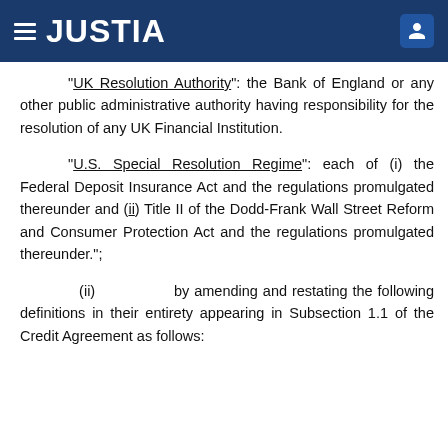JUSTIA
“UK Resolution Authority”: the Bank of England or any other public administrative authority having responsibility for the resolution of any UK Financial Institution.
“U.S. Special Resolution Regime”: each of (i) the Federal Deposit Insurance Act and the regulations promulgated thereunder and (ii) Title II of the Dodd-Frank Wall Street Reform and Consumer Protection Act and the regulations promulgated thereunder.”;
(ii)        by amending and restating the following definitions in their entirety appearing in Subsection 1.1 of the Credit Agreement as follows: